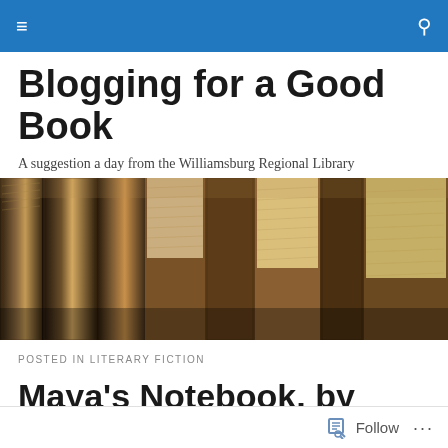Navigation bar with hamburger menu and search icon
Blogging for a Good Book
A suggestion a day from the Williamsburg Regional Library
[Figure (photo): Close-up photograph of old worn leather-bound books arranged upright on a shelf, showing their aged spines and pages edge-on, in warm brown tones]
POSTED IN LITERARY FICTION
Maya's Notebook, by Isabel Allende
Follow ...